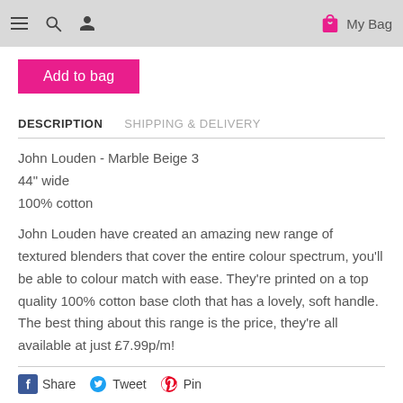≡  🔍  👤   My Bag
Add to bag
DESCRIPTION   SHIPPING & DELIVERY
John Louden - Marble Beige 3
44" wide
100% cotton
John Louden have created an amazing new range of textured blenders that cover the entire colour spectrum, you'll be able to colour match with ease. They're printed on a top quality 100% cotton base cloth that has a lovely, soft handle. The best thing about this range is the price, they're all available at just £7.99p/m!
Share   Tweet   Pin